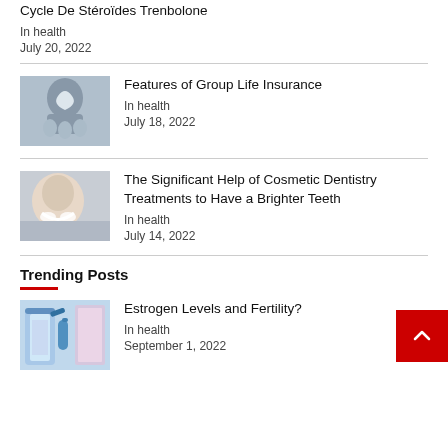Cycle De Stéroïdes Trenbolone
In health
July 20, 2022
[Figure (photo): Person holding umbrella over family silhouette, insurance concept]
Features of Group Life Insurance
In health
July 18, 2022
[Figure (photo): Smiling woman resting chin on hands, dental/cosmetic dentistry concept]
The Significant Help of Cosmetic Dentistry Treatments to Have a Brighter Teeth
In health
July 14, 2022
Trending Posts
[Figure (photo): Gloved hand holding blood test tube, estrogen/fertility concept]
Estrogen Levels and Fertility?
In health
September 1, 2022